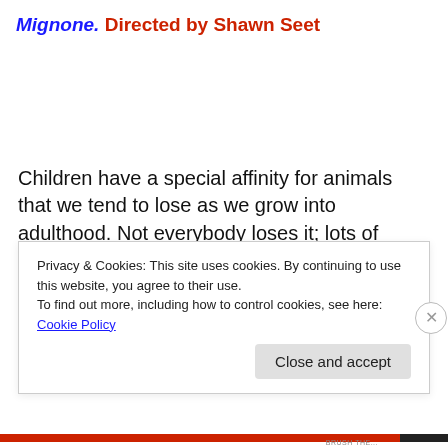Mignone. Directed by Shawn Seet
Children have a special affinity for animals that we tend to lose as we grow into adulthood. Not everybody loses it; lots of adults love animals as much as they did as children (if not more) and work very hard to protect the animal kingdom through organizations like the World Wildlife
Privacy & Cookies: This site uses cookies. By continuing to use this website, you agree to their use.
To find out more, including how to control cookies, see here: Cookie Policy
Close and accept